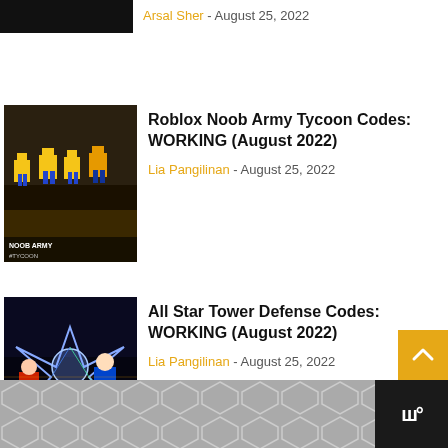Arsal Sher - August 25, 2022
Roblox Noob Army Tycoon Codes: WORKING (August 2022)
Lia Pangilinan - August 25, 2022
All Star Tower Defense Codes: WORKING (August 2022)
Lia Pangilinan - August 25, 2022
NO COMMENTS
Leave A Reply
Comment...